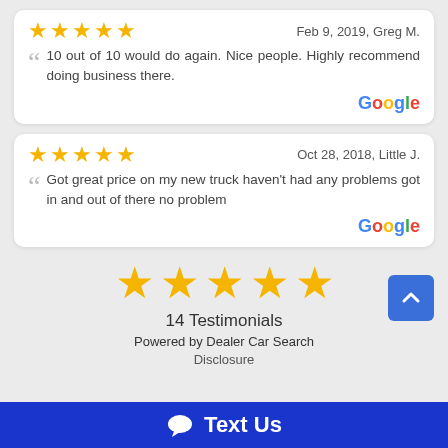★★★★★  Feb 9, 2019, Greg M.
10 out of 10 would do again. Nice people. Highly recommend doing business there.
Google
★★★★★  Oct 28, 2018, Little J.
Got great price on my new truck haven't had any problems got in and out of there no problem
Google
[Figure (other): Five large gold stars rating display]
14 Testimonials
Powered by Dealer Car Search
Disclosure
Text Us